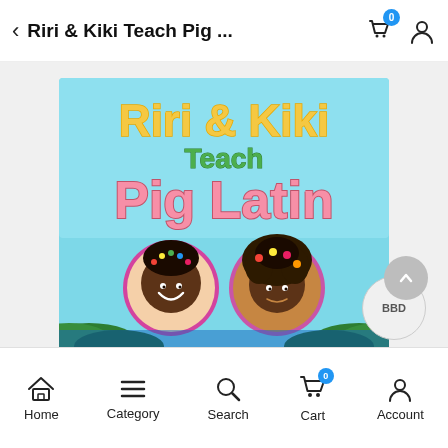Riri & Kiki Teach Pig ...
[Figure (illustration): Book cover for 'Riri & Kiki Teach Pig Latin' showing a light blue background with colorful text: 'Riri & Kiki' in yellow, 'Teach' in green, 'Pig Latin' in pink. Two circular cartoon portraits of young Black girls with braided hair are shown at the bottom, with tropical foliage along the bottom edge.]
Home  Category  Search  Cart  Account